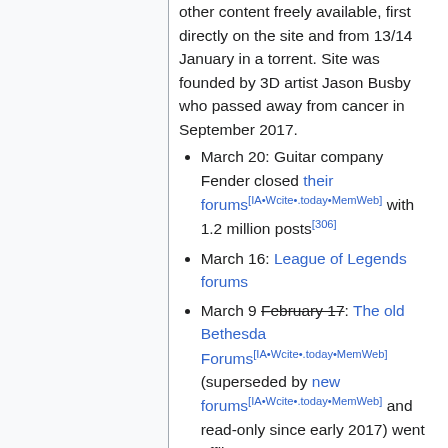other content freely available, first directly on the site and from 13/14 January in a torrent. Site was founded by 3D artist Jason Busby who passed away from cancer in September 2017.
March 20: Guitar company Fender closed their forums[IA•Wcite•.today•MemWeb] with 1.2 million posts[306]
March 16: League of Legends forums
March 9 February 17: The old Bethesda Forums[IA•Wcite•.today•MemWeb] (superseded by new forums[IA•Wcite•.today•MemWeb] and read-only since early 2017) went offline.
February 27: PlayStation Community